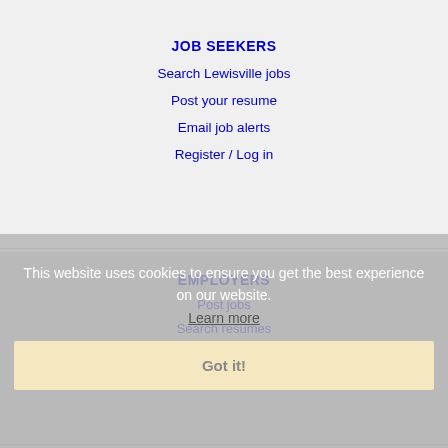JOB SEEKERS
Search Lewisville jobs
Post your resume
Email job alerts
Register / Log in
EMPLOYERS
Post jobs
Search resumes
Email resume alerts
Advertise
This website uses cookies to ensure you get the best experience on our website.
Learn more
Got it!